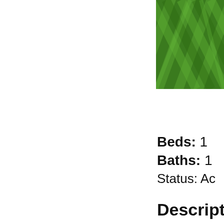[Figure (photo): Aerial or close-up view of a mowed green lawn with diagonal mowing stripe patterns, cropped in the upper-right area of the page.]
Beds: 1
Baths: 1
Status: Ac
Descripti